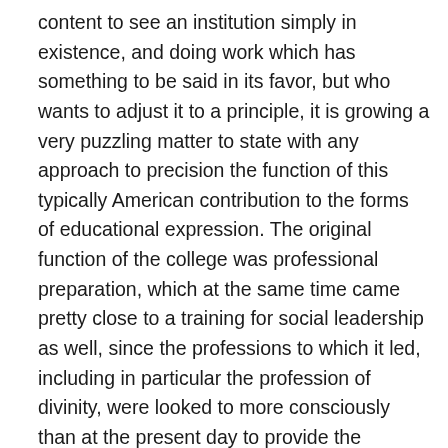content to see an institution simply in existence, and doing work which has something to be said in its favor, but who wants to adjust it to a principle, it is growing a very puzzling matter to state with any approach to precision the function of this typically American contribution to the forms of educational expression. The original function of the college was professional preparation, which at the same time came pretty close to a training for social leadership as well, since the professions to which it led, including in particular the profession of divinity, were looked to more consciously than at the present day to provide the material for leadership in ideas. But if one were to try to justify theoretically the college now on the same ground, two facts at least would need to be recognized. In the first place the college does not actually at present, except in the form of a pious aspiration, base itself upon intellectual distinction, or aim at developing peculiar capacities for